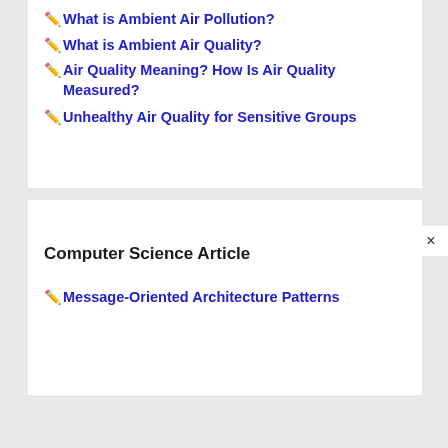✏️What is Ambient Air Pollution?
✏️What is Ambient Air Quality?
✏️Air Quality Meaning? How Is Air Quality Measured?
✏️Unhealthy Air Quality for Sensitive Groups
Computer Science Article
✏️Message-Oriented Architecture Patterns